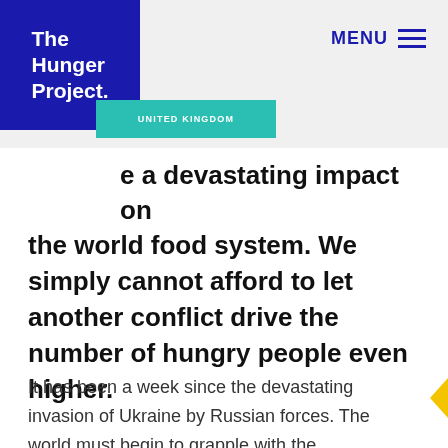The Hunger Project. UNITED KINGDOM | MENU
e a devastating impact on the world food system. We simply cannot afford to let another conflict drive the number of hungry people even higher.
It has been a week since the devastating invasion of Ukraine by Russian forces. The world must begin to grapple with the